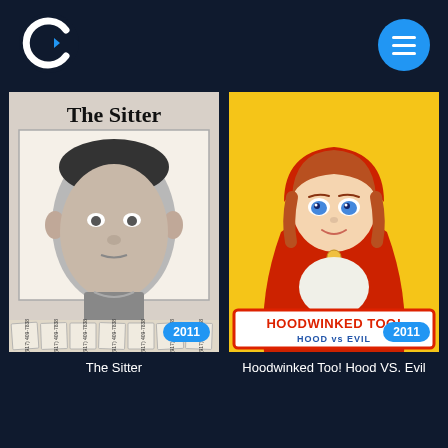[Figure (logo): Crackle streaming service logo - white C shape with play triangle on dark navy background]
[Figure (photo): The Sitter movie poster - black and white, shows young man's face in wanted-poster style with phone number tear-offs at bottom reading (917) 409-7838, title 'The Sitter' in bold black text at top. Year badge: 2011]
[Figure (photo): Hoodwinked Too! Hood VS. Evil movie poster - animated girl in red hood on yellow background, movie title in red/white stylized text at bottom. Year badge: 2011]
The Sitter
Hoodwinked Too! Hood VS. Evil